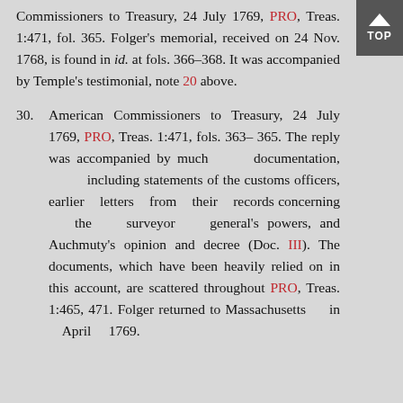Commissioners to Treasury, 24 July 1769, PRO, Treas. 1:471, fol. 365. Folger's memorial, received on 24 Nov. 1768, is found in id. at fols. 366–368. It was accompanied by Temple's testimonial, note 20 above.
30. American Commissioners to Treasury, 24 July 1769, PRO, Treas. 1:471, fols. 363–365. The reply was accompanied by much documentation, including statements of the customs officers, earlier letters from their records concerning the surveyor general's powers, and Auchmuty's opinion and decree (Doc. III). The documents, which have been heavily relied on in this account, are scattered throughout PRO, Treas. 1:465, 471. Folger returned to Massachusetts in April 1769.